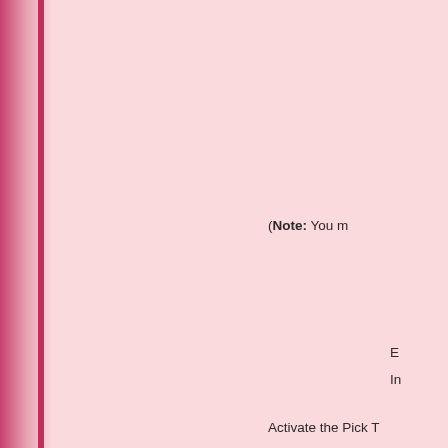[Figure (photo): Left side decorative photo strip showing a person, with a dark pink/crimson vertical accent bar on the right edge of the strip]
(Note: You m
E
In
Activate the Pick T